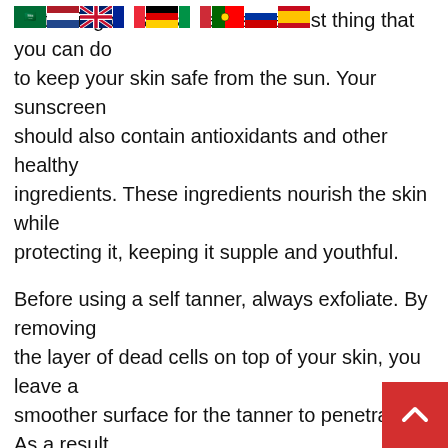Slathering on sunscreen is the best thing that you can do to keep your skin safe from the sun. Your sunscreen should also contain antioxidants and other healthy ingredients. These ingredients nourish the skin while protecting it, keeping it supple and youthful.
Before using a self tanner, always exfoliate. By removing the layer of dead cells on top of your skin, you leave a smoother surface for the tanner to penetrate. As a result, your tan is going to appear more even and smoother. It will also make it stay on longer so that it resembles the real thing.
To play up green or hazel eyes and create a candlelit effect, choose eye colors that highlight the gold and green tones in your irises. Colors such as lavender, pewter and purple, will enhance the gold and green in hazel eyes.
Pimples can sometimes appear unexpectedly and ca you unprepared. An effective home remedy for treating a pimple is to place a small dab of toothpaste on it. Don't
[Figure (other): Red scroll-to-top button with white upward chevron arrow in bottom-right corner]